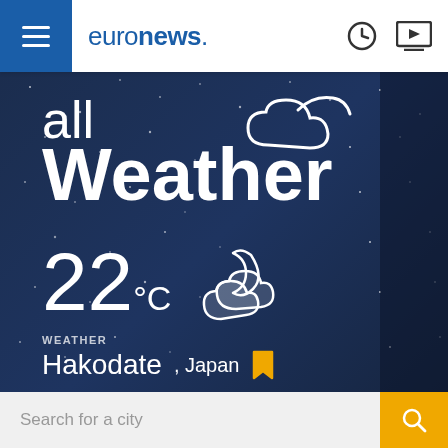[Figure (screenshot): Euronews navigation bar with hamburger menu icon (white bars on blue background), euronews. logo, clock icon and video play icon]
[Figure (infographic): All Weather app screenshot on dark blue starry night background showing 'all Weather' title with cloud icon, temperature 22°C with partly cloudy night icon, location Hakodate Japan with bookmark icon]
Search for a city